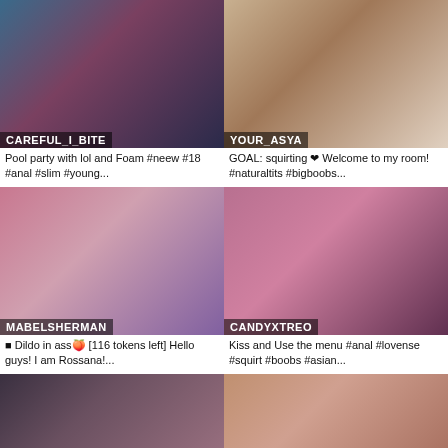[Figure (screenshot): Webcam stream thumbnail for CAREFUL_I_BITE]
CAREFUL_I_BITE
Pool party with lol and Foam #neew #18 #anal #slim #young...
[Figure (screenshot): Webcam stream thumbnail for YOUR_ASYA]
YOUR_ASYA
GOAL: squirting ❤ Welcome to my room! #naturaltits #bigboobs...
[Figure (screenshot): Webcam stream thumbnail for MABELSHERMAN]
MABELSHERMAN
■ Dildo in ass🍑 [116 tokens left] Hello guys! I am Rossana!...
[Figure (screenshot): Webcam stream thumbnail for CANDYXTREO]
CANDYXTREO
Kiss and Use the menu #anal #lovense #squirt #boobs #asian...
[Figure (screenshot): Webcam stream thumbnail partial row left]
[Figure (screenshot): Webcam stream thumbnail partial row right]